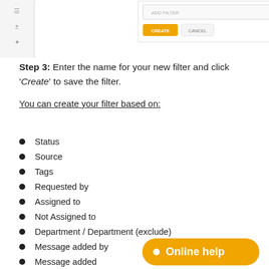[Figure (screenshot): Partial screenshot of a web application showing a dialog with 'ADD FILTER' input field and CREATE/CANCEL buttons, with colored status tags visible on the right side.]
Step 3: Enter the name for your new filter and click 'Create' to save the filter.
You can create your filter based on:
Status
Source
Tags
Requested by
Assigned to
Not Assigned to
Department / Department (exclude)
Message added by
Message added
Created
[Figure (other): Orange 'Online help' button with white bullet dot]